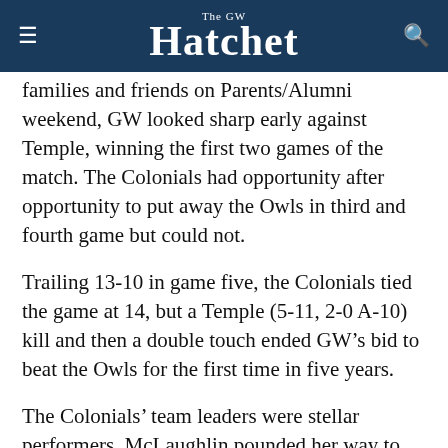The GW Hatchet
families and friends on Parents/Alumni weekend, GW looked sharp early against Temple, winning the first two games of the match. The Colonials had opportunity after opportunity to put away the Owls in third and fourth game but could not.
Trailing 13-10 in game five, the Colonials tied the game at 14, but a Temple (5-11, 2-0 A-10) kill and then a double touch ended GW’s bid to beat the Owls for the first time in five years.
The Colonials’ team leaders were stellar performers. McLaughlin pounded her way to 28 kills with a .323 kill percentage. Senior Molly Law collected 18 kills and 22 digs while junior